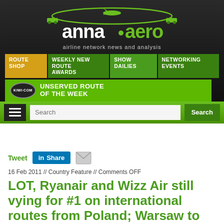[Figure (logo): anna.aero logo with airplane graphic and tagline 'airline network news and analysis' on dark background]
ROUTE SHOP | WEEKLY NEW ROUTE AWARDS | SHOW DAILIES | NETWORKING EVENTS
[Figure (other): kiwi.com Unserved Route of the Week banner in green]
Tweet  Share (LinkedIn)  [email icon]
16 Feb 2011 // Country Feature // Comments OFF
LOT, Ryanair and Wizz Air still vying for #1 on international routes from Poland; Warsaw to get second airport in 2012